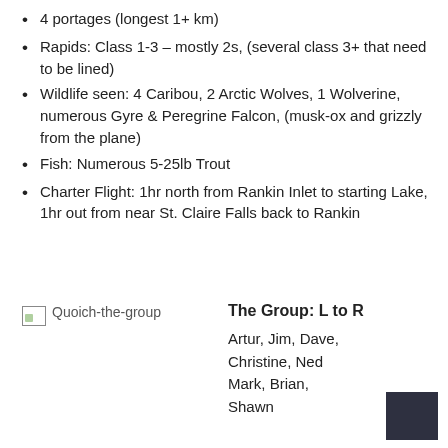4 portages (longest 1+ km)
Rapids: Class 1-3 – mostly 2s, (several class 3+ that need to be lined)
Wildlife seen: 4 Caribou, 2 Arctic Wolves, 1 Wolverine, numerous Gyre & Peregrine Falcon, (musk-ox and grizzly from the plane)
Fish: Numerous 5-25lb Trout
Charter Flight: 1hr north from Rankin Inlet to starting Lake, 1hr out from near St. Claire Falls back to Rankin
[Figure (photo): Quoich-the-group photo placeholder]
The Group: L to R
Artur, Jim, Dave, Christine, Ned
Mark, Brian, Shawn